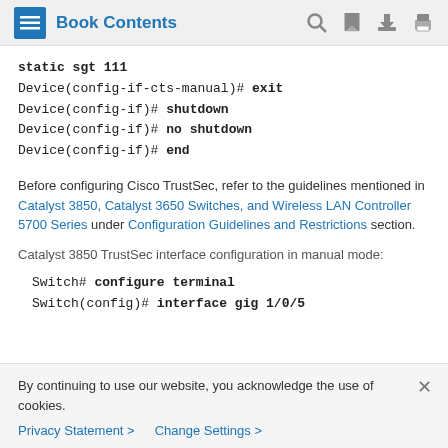Book Contents
static sgt 111
Device(config-if-cts-manual)# exit
Device(config-if)# shutdown
Device(config-if)# no shutdown
Device(config-if)# end
Before configuring Cisco TrustSec, refer to the guidelines mentioned in Catalyst 3850, Catalyst 3650 Switches, and Wireless LAN Controller 5700 Series under Configuration Guidelines and Restrictions section.
Catalyst 3850 TrustSec interface configuration in manual mode:
Switch# configure terminal
Switch(config)# interface gig 1/0/5
By continuing to use our website, you acknowledge the use of cookies.
Privacy Statement > Change Settings >